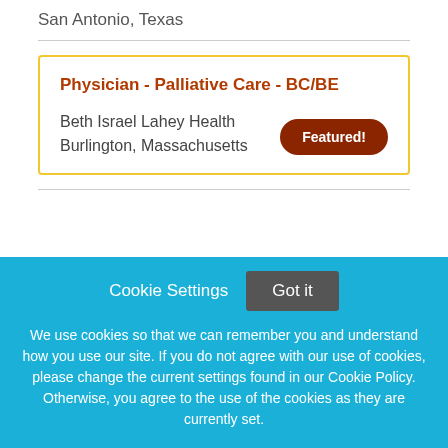San Antonio, Texas
Physician - Palliative Care - BC/BE
Beth Israel Lahey Health
Burlington, Massachusetts
Featured!
Cookie Settings
Got it
We use cookies so that we can remember you and understand how you use our site. If you do not agree with our use of cookies, please change the current settings found in our Cookie Policy. Otherwise, you agree to the use of the cookies as they are currently set.